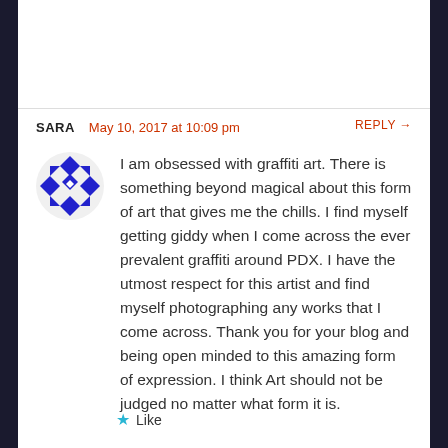SARA   May 10, 2017 at 10:09 pm   REPLY →
[Figure (logo): Blue geometric/mandala-style circular avatar icon for user Sara]
I am obsessed with graffiti art. There is something beyond magical about this form of art that gives me the chills. I find myself getting giddy when I come across the ever prevalent graffiti around PDX. I have the utmost respect for this artist and find myself photographing any works that I come across. Thank you for your blog and being open minded to this amazing form of expression. I think Art should not be judged no matter what form it is.
★ Like